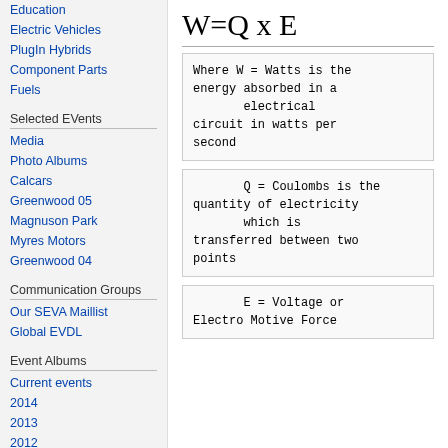Education
Electric Vehicles
PlugIn Hybrids
Component Parts
Fuels
Selected EVents
Media
Photo Albums
Calcars
Greenwood 05
Magnuson Park
Myres Motors
Greenwood 04
Communication Groups
Our SEVA Maillist
Global EVDL
Event Albums
Current events
2014
2013
2012
W=Q x E
Where W = Watts is the energy absorbed in a electrical circuit in watts per second
Q = Coulombs is the quantity of electricity which is transferred between two points
E = Voltage or Electro Motive Force